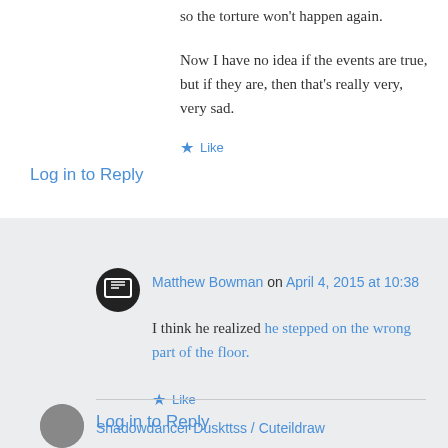so the torture won't happen again.
Now I have no idea if the events are true, but if they are, then that's really very, very sad.
★ Like
Log in to Reply
Matthew Bowman on April 4, 2015 at 10:38
I think he realized he stepped on the wrong part of the floor.
★ Like
Log in to Reply
Shadowdancer Duskttss / Cuteildraw